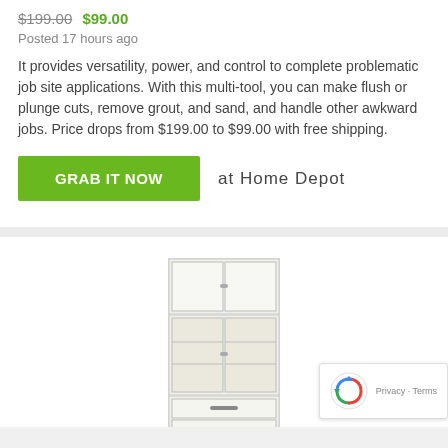$199.00 $99.00
Posted 17 hours ago
It provides versatility, power, and control to complete problematic job site applications. With this multi-tool, you can make flush or plunge cuts, remove grout, and sand, and handle other awkward jobs. Price drops from $199.00 to $99.00 with free shipping.
GRAB IT NOW   at Home Depot
[Figure (photo): White tall cabinet with upper solid doors, middle glass-front display doors with shelves, and bottom drawers.]